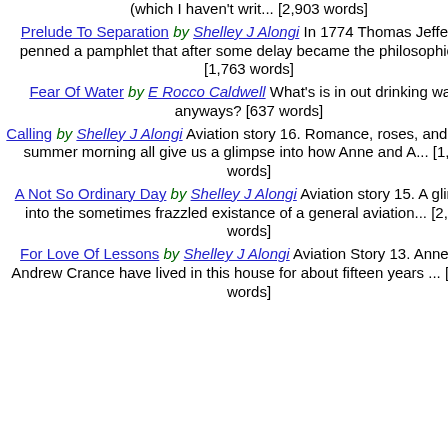Andrew attend an airshow (which I haven't writ... [2,903 words]
Prelude To Separation by Shelley J Alongi In 1774 Thomas Jefferson penned a pamphlet that after some delay became the philosophical... [1,763 words]
Fear Of Water by E Rocco Caldwell What's is in out drinking water anyways? [637 words]
Calling by Shelley J Alongi Aviation story 16. Romance, roses, and a cool summer morning all give us a glimpse into how Anne and A... [1,580 words]
A Not So Ordinary Day by Shelley J Alongi Aviation story 15. A glimpse into the sometimes frazzled existance of a general aviation... [2,064 words]
For Love Of Lessons by Shelley J Alongi Aviation Story 13. Anne and Andrew Crance have lived in this house for about fifteen years ... [2,295 words]
Arnie (Short Stories) A little labourer ha... [Humor]
Back To The Garden (Short Stories) De... dumbed down these days. Poor state e...
Changing To Go Out (Short Stories) In... the pictures with the missus is no easy...
God's Trainees (Short Stories) Him ups... up some suitable replacements. Easier... way the used to. [1,570 words] [Humor]
Mementoes Of Treasured Occasions (S... new source of business. [496 words] [H...
Providing For Sarah (Short Stories) A c... companion. But who will care for her wh...
Sex Life Of The Amoeba (Short Stories... known eukarytic organism. The dirty litt...
Soup (Short Stories) A soup manufactu...
The Adventures Of Archie 1 - The Grea... Wonderland meets Canterbury Tales so... boring than the latter. In episode 1 our c... [473 words] [Humor]
The Adventures Of Archie 2 - The Little... satanic creature identifies too much wit...
The Adventures Of Archie 3 - The Spid... from the paralysing purple and find him... eaten all the perspective. There he mee... dancing i... [1,313 words] [Humor]
The Adventures Of Archie 4a - The Gre... greats of bodily functions and meets the...